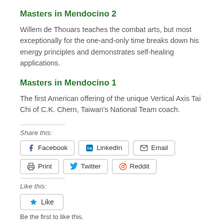Masters in Mendocino 2
Willem de Thouars teaches the combat arts, but most exceptionally for the one-and-only time breaks down his energy principles and demonstrates self-healing applications.
Masters in Mendocino 1
The first American offering of the unique Vertical Axis Tai Chi of C.K. Chern, Taiwan's National Team coach.
Share this:
Facebook  LinkedIn  Email  Print  Twitter  Reddit
Like this:
Like  Be the first to like this.